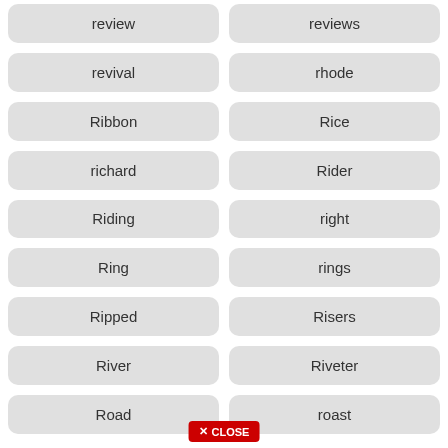review
reviews
revival
rhode
Ribbon
Rice
richard
Rider
Riding
right
Ring
rings
Ripped
Risers
River
Riveter
Road
roast
Robot (partial)
(partial)
✕ CLOSE